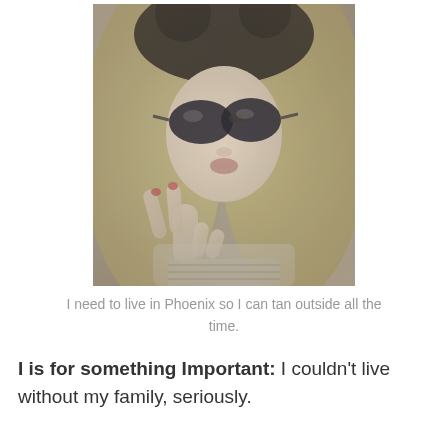[Figure (photo): A young woman with long blonde hair, wearing large sunglasses and a black hat with ears, making a peace sign gesture. Photo has a vintage/filtered look with muted warm tones.]
I need to live in Phoenix so I can tan outside all the time.
I is for something Important: I couldn't live without my family, seriously.